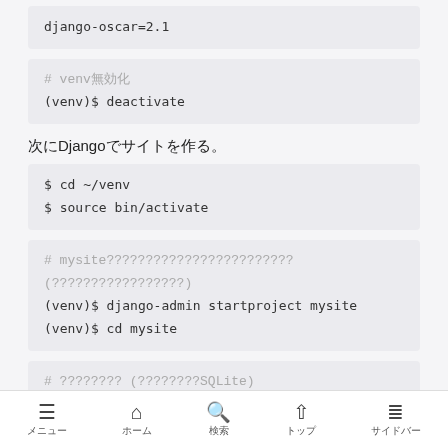django-oscar=2.1
# venvの無効化
(venv)$ deactivate
次にDjangoでサイトを作る。
$ cd ~/venv
$ source bin/activate
# mysiteという名前でプロジェクトを作成する（名前は何でも良い）
(venv)$ django-admin startproject mysite
(venv)$ cd mysite
# マイグレーション（デフォルトはSQLite)
(venv)$ python manage.py migrate
上の3つ目のコマンドで次のようなフォルダが出来ている。
最上位の  mysite／  はプロジェクトのフォルダであり、任意の名前
メニュー　ホーム　検索　トップ　サイドバー